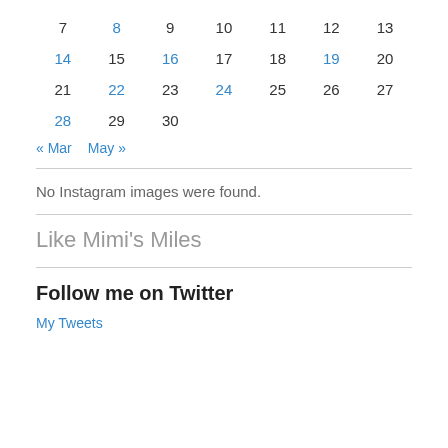| 7 | 8 | 9 | 10 | 11 | 12 | 13 |
| 14 | 15 | 16 | 17 | 18 | 19 | 20 |
| 21 | 22 | 23 | 24 | 25 | 26 | 27 |
| 28 | 29 | 30 |  |  |  |  |
« Mar   May »
No Instagram images were found.
Like Mimi's Miles
Follow me on Twitter
My Tweets